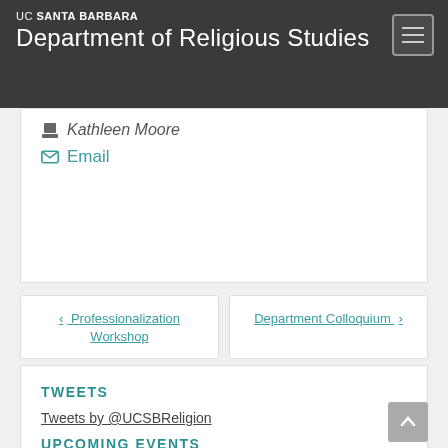UC SANTA BARBARA — Department of Religious Studies
Kathleen Moore
Email
‹ Professionalization Workshop
Department Colloquium ›
TWEETS
Tweets by @UCSBReligion
UPCOMING EVENTS
There are no upcoming events.